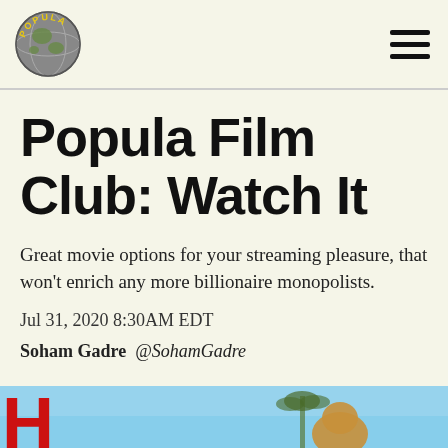Popula [logo] [hamburger menu]
Popula Film Club: Watch It
Great movie options for your streaming pleasure, that won't enrich any more billionaire monopolists.
Jul 31, 2020 8:30AM EDT
Soham Gadre @SohamGadre
[Figure (photo): Partial photo strip at bottom of page showing a red H letter on left side and what appears to be an animal (brownish) against a blue sky background]